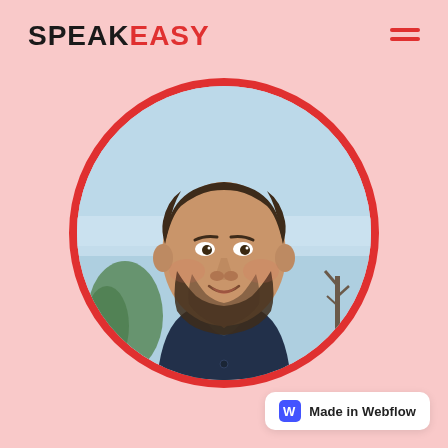SPEAKEASY
[Figure (logo): Hamburger menu icon with two red horizontal lines]
[Figure (photo): Circular portrait photo of a man with dark hair and beard, wearing a dark jacket, smiling, with blue sky and trees in background. Framed with a thick red circular border.]
[Figure (logo): Made in Webflow badge — white rounded rectangle with Webflow W icon and text 'Made in Webflow']